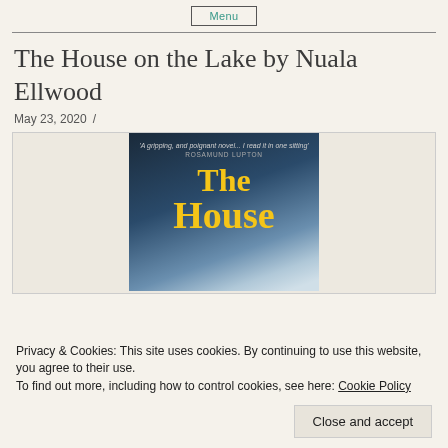Menu
The House on the Lake by Nuala Ellwood
May 23, 2020  /
[Figure (illustration): Book cover of 'The House on the Lake' by Nuala Ellwood with dark blue foggy background, yellow title text, and a blurb from Rosamund Lupton reading 'A gripping, and poignant novel... I read it in one sitting']
Privacy & Cookies: This site uses cookies. By continuing to use this website, you agree to their use.
To find out more, including how to control cookies, see here: Cookie Policy
Close and accept